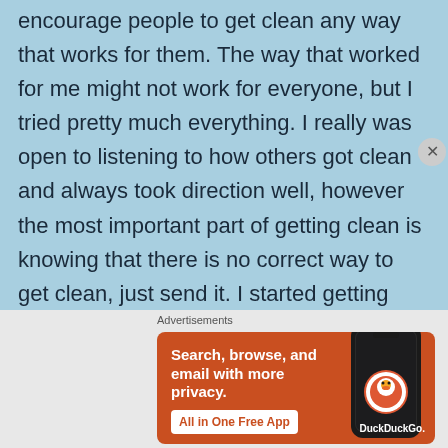encourage people to get clean any way that works for them. The way that worked for me might not work for everyone, but I tried pretty much everything. I really was open to listening to how others got clean and always took direction well, however the most important part of getting clean is knowing that there is no correct way to get clean, just send it. I started getting methadone pills back in 2009 and was also getting suboxone pills before they stopped making those. That was my first time trying to use medication to get off of heroin. Those first three years I didn't have a clue about what I should be doing to overcome my addiction. I thought it was all physical
[Figure (other): DuckDuckGo advertisement banner showing 'Search, browse, and email with more privacy. All in One Free App' with a phone image and DuckDuckGo logo]